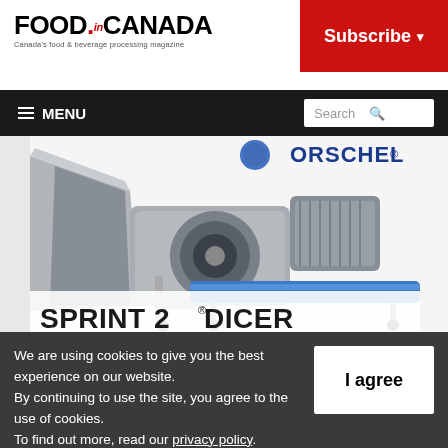FOOD in CANADA — Canada's food & beverage processing magazine
[Figure (screenshot): Subscribe button (red background, white bold text with dropdown arrow)]
[Figure (screenshot): Navigation bar with hamburger MENU icon on left and Search box on right]
[Figure (photo): Orschel Sprint 2 Dicer industrial food processing machine — stainless steel dicer with blue conveyor belt, shown with large hopper, motor, and the label SPRINT 2® DICER at the bottom]
We are using cookies to give you the best experience on our website.
By continuing to use the site, you agree to the use of cookies.
To find out more, read our privacy policy.